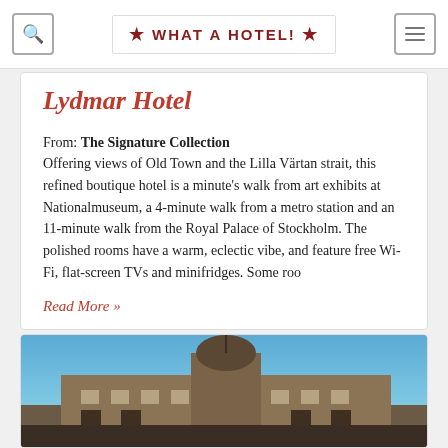What a Hotel!
Lydma. Hotel
From: The Signature Collection
Offering views of Old Town and the Lilla Värtan strait, this refined boutique hotel is a minute's walk from art exhibits at Nationalmuseum, a 4-minute walk from a metro station and an 11-minute walk from the Royal Palace of Stockholm. The polished rooms have a warm, eclectic vibe, and feature free Wi-Fi, flat-screen TVs and minifridges. Some roo
Read More »
[Figure (photo): Exterior photograph of a historic building with a domed tower, photographed against a clear blue sky, lower portions show architectural stonework.]